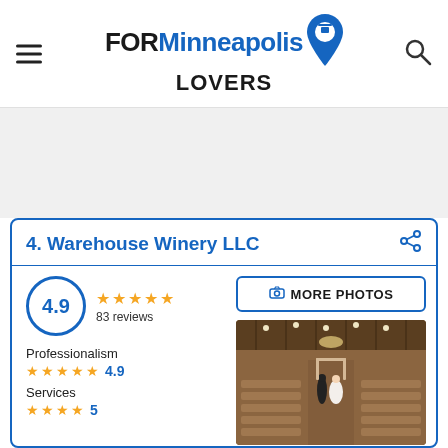FOR Minneapolis LOVERS
4. Warehouse Winery LLC
4.9 — 83 reviews
Professionalism 4.9
Services 5
[Figure (photo): Interior of Warehouse Winery LLC venue showing rows of chairs, string lights, and people at a wedding ceremony]